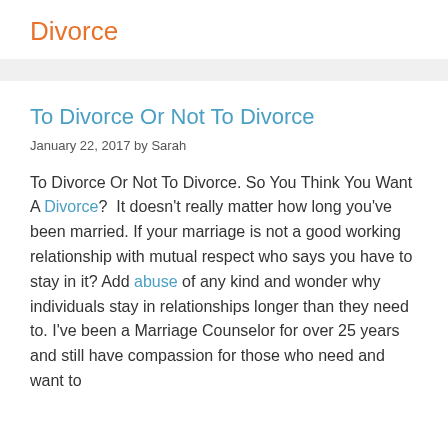Divorce
To Divorce Or Not To Divorce
January 22, 2017 by Sarah
To Divorce Or Not To Divorce. So You Think You Want A Divorce?  It doesn't really matter how long you've been married. If your marriage is not a good working relationship with mutual respect who says you have to stay in it? Add abuse of any kind and wonder why individuals stay in relationships longer than they need to. I've been a Marriage Counselor for over 25 years and still have compassion for those who need and want to